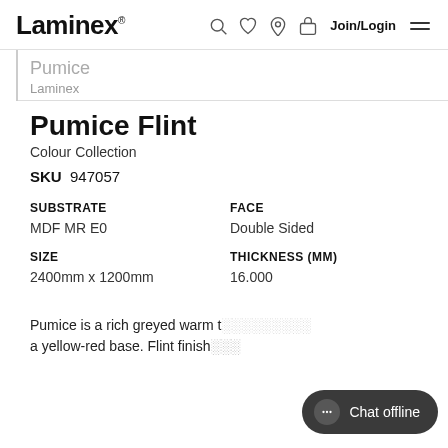Laminex — Join/Login
Pumice Flint
Colour Collection
SKU  947057
| SUBSTRATE | FACE |
| --- | --- |
| MDF MR E0 | Double Sided |
| SIZE | THICKNESS (MM) |
| --- | --- |
| 2400mm x 1200mm | 16.000 |
Pumice is a rich greyed warm t… a yellow-red base. Flint finish…